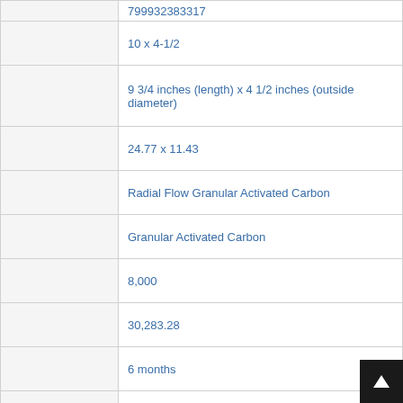| Field | Value |
| --- | --- |
|  | 799932383317 |
|  | 10 x 4-1/2 |
|  | 9 3/4 inches (length) x 4 1/2 inches (outside diameter) |
|  | 24.77 x 11.43 |
|  | Radial Flow Granular Activated Carbon |
|  | Granular Activated Carbon |
|  | 8,000 |
|  | 30,283.28 |
|  | 6 months |
|  | 0.5 |
|  | 1 microns |
|  | 2.5 |
|  | 9.464 |